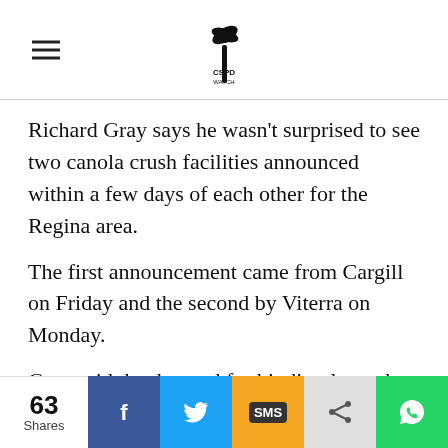CSPD (logo)
Richard Gray says he wasn't surprised to see two canola crush facilities announced within a few days of each other for the Regina area.
The first announcement came from Cargill on Friday and the second by Viterra on Monday.
Gray said the demand for biodiesel may be driving the duelling plant announcements. Biodiesel is a fuel derived directly from living matter — such as canola plants — meant to be a substitute for diesel.
63 Shares | Facebook | Twitter | SMS | Share | WhatsApp